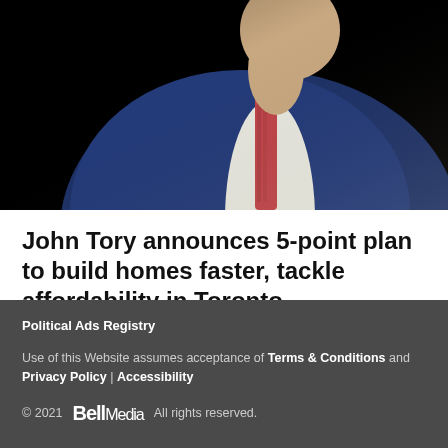[Figure (photo): Close-up photo of a man in a dark navy blue suit with a red patterned tie, photographed from below/side angle against a neutral background. Only the lower face, neck, and suit are visible.]
John Tory announces 5-point plan to build homes faster, tackle affordability in Toronto
FOLLOW ON
Political Ads Registry
Use of this Website assumes acceptance of Terms & Conditions and Privacy Policy | Accessibility
© 2021  Bell Media  All rights reserved.